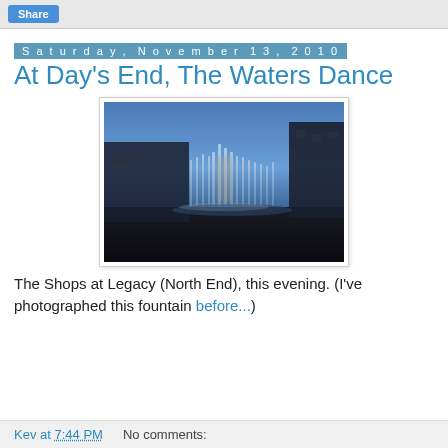Share
Saturday, November 13, 2010
At Day's End, The Waters Dance
[Figure (photo): Photograph of illuminated water fountains at dusk with buildings in the background at The Shops at Legacy (North End).]
The Shops at Legacy (North End), this evening. (I've photographed this fountain before...)
Kev at 7:44 PM    No comments: